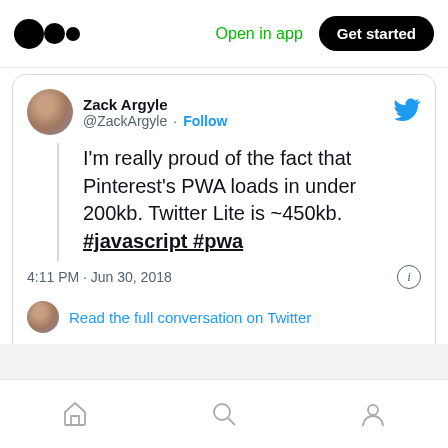Medium logo | Open in app | Get started
[Figure (screenshot): Tweet by Zack Argyle (@ZackArgyle) with Follow button and Twitter bird icon. Tweet text: I'm really proud of the fact that Pinterest's PWA loads in under 200kb. Twitter Lite is ~450kb. #javascript #pwa. Posted at 4:11 PM · Jun 30, 2018. Below: Read the full conversation on Twitter link. Actions: 322 likes, Reply, Copy link. Read 6 replies button.]
Home | Search | Profile navigation icons